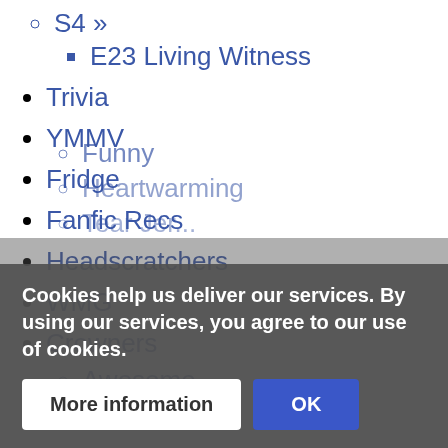S4 »
E23 Living Witness
Trivia
YMMV
Fridge
Fanfic Recs
Headscratchers
WMG
Crowners
Awesome
Funny
Heartwarming
Tear Je...
Cookies help us deliver our services. By using our services, you agree to our use of cookies.